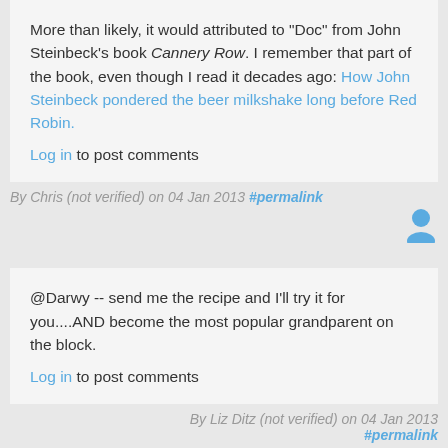More than likely, it would attributed to "Doc" from John Steinbeck's book Cannery Row. I remember that part of the book, even though I read it decades ago: How John Steinbeck pondered the beer milkshake long before Red Robin.
Log in to post comments
By Chris (not verified) on 04 Jan 2013 #permalink
@Darwy -- send me the recipe and I'll try it for you....AND become the most popular grandparent on the block.
Log in to post comments
By Liz Ditz (not verified) on 04 Jan 2013 #permalink